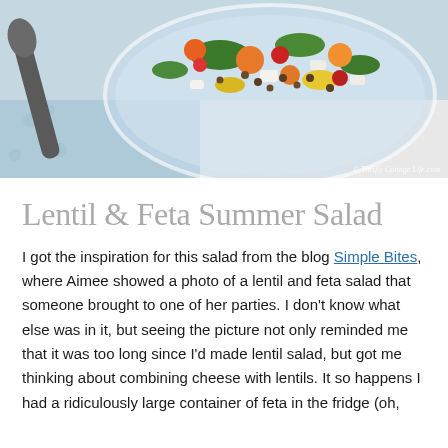[Figure (photo): A glass bowl filled with lentil and feta summer salad featuring colorful vegetables including tomatoes, corn, herbs, and white cheese chunks, placed on a light blue cloth with a serving spoon visible]
Lentil & Feta Summer Salad
I got the inspiration for this salad from the blog Simple Bites, where Aimee showed a photo of a lentil and feta salad that someone brought to one of her parties. I don't know what else was in it, but seeing the picture not only reminded me that it was too long since I'd made lentil salad, but got me thinking about combining cheese with lentils. It so happens I had a ridiculously large container of feta in the fridge (oh,